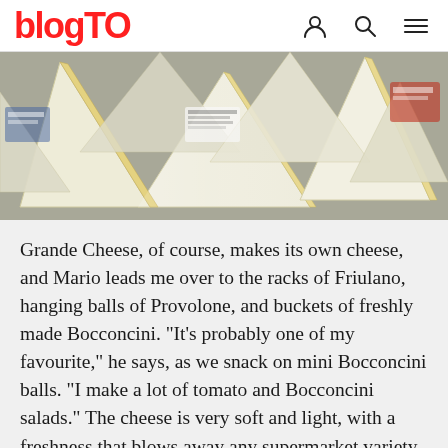blogTO
[Figure (photo): Overhead view of many wedges of white soft cheese (likely Friulano and Bocconcini) wrapped in plastic packaging, piled together on a surface.]
Grande Cheese, of course, makes its own cheese, and Mario leads me over to the racks of Friulano, hanging balls of Provolone, and buckets of freshly made Bocconcini. "It's probably one of my favourite," he says, as we snack on mini Bocconcini balls. "I make a lot of tomato and Bocconcini salads." The cheese is very soft and light, with a freshness that blows away any supermarket variety.